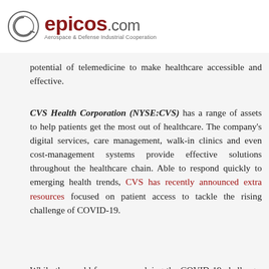epicos.com — Aerospace & Defense Industrial Cooperation
potential of telemedicine to make healthcare accessible and effective.
CVS Health Corporation (NYSE:CVS) has a range of assets to help patients get the most out of healthcare. The company's digital services, care management, walk-in clinics and even cost-management systems provide effective solutions throughout the healthcare chain. Able to respond quickly to emerging health trends, CVS has recently announced extra resources focused on patient access to tackle the rising challenge of COVID-19.
While the world focuses on solving the COVID-19 challenge, savvy companies that are addressing the high cost of prescriptions and